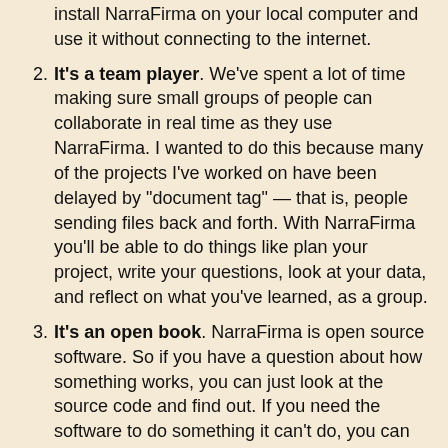install NarraFirma on your local computer and use it without connecting to the internet.
It's a team player. We've spent a lot of time making sure small groups of people can collaborate in real time as they use NarraFirma. I wanted to do this because many of the projects I've worked on have been delayed by "document tag" — that is, people sending files back and forth. With NarraFirma you'll be able to do things like plan your project, write your questions, look at your data, and reflect on what you've learned, as a group.
It's an open book. NarraFirma is open source software. So if you have a question about how something works, you can just look at the source code and find out. If you need the software to do something it can't do, you can change it yourself or ask someone else to change it. You can even hire me/us to make the changes you need. We are willing to provide relatively low rates for improvements, as long as everybody gets them.
It works in the real world. One thing we wanted to